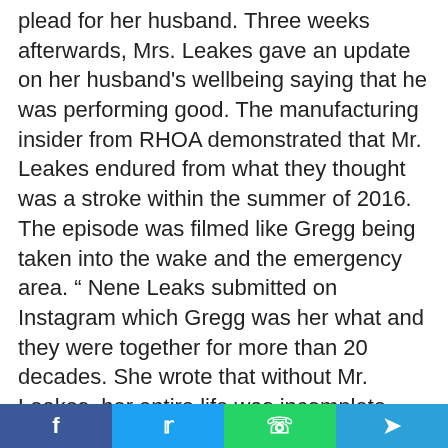plead for her husband. Three weeks afterwards, Mrs. Leakes gave an update on her husband's wellbeing saying that he was performing good. The manufacturing insider from RHOA demonstrated that Mr. Leakes endured from what they thought was a stroke within the summer of 2016. The episode was filmed like Gregg being taken into the wake and the emergency area. " Nene Leaks submitted on Instagram which Gregg was her what and they were together for more than 20 decades. She wrote that without Mr. Leakes, her entire life was incomplete. Before when Nene was grinding to make ends meet, and she had been striping to make a living, there
Social share bar: Facebook, Twitter, WhatsApp, Telegram